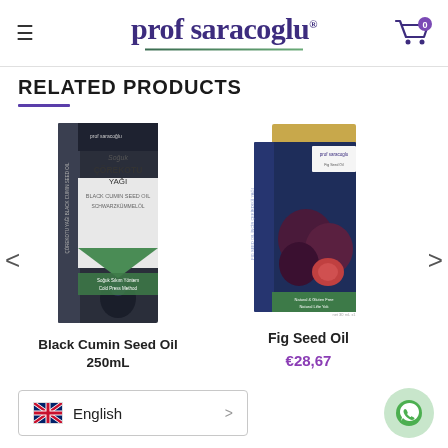prof saracoglu
RELATED PRODUCTS
[Figure (photo): Black Cumin Seed Oil 250mL product box - dark navy and white packaging with green accents, prof saracoglu branding]
Black Cumin Seed Oil 250mL
[Figure (photo): Fig Seed Oil product box - dark navy packaging with gold top, figs imagery, prof saracoglu branding]
Fig Seed Oil
€28,67
English